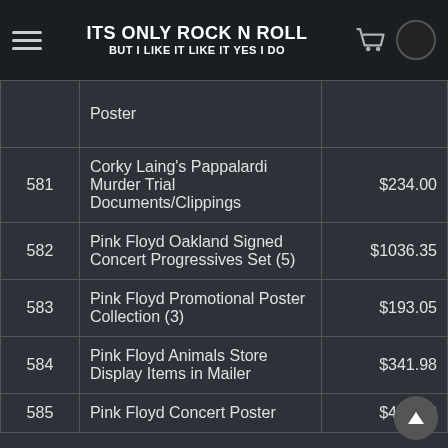ITS ONLY ROCK N ROLL BUT I LIKE IT LIKE IT YES I DO
| # | Item | Price |
| --- | --- | --- |
|  | Poster |  |
| 581 | Corky Laing's Pappalardi Murder Trial Documents/Clippings | $234.00 |
| 582 | Pink Floyd Oakland Signed Concert Progressives Set (5) | $1036.35 |
| 583 | Pink Floyd Promotional Poster Collection (3) | $193.05 |
| 584 | Pink Floyd Animals Store Display Items in Mailer | $341.98 |
| 585 | Pink Floyd Concert Poster | $413.78 |